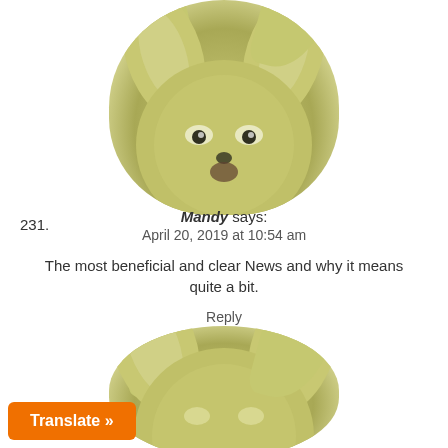Reply
[Figure (photo): Blurry photo of a small fennec fox or similar animal face with large ears, looking surprised, yellowish-green tones]
231.
Mandy says:
April 20, 2019 at 10:54 am
The most beneficial and clear News and why it means quite a bit.
Reply
[Figure (photo): Blurry photo of a fennec fox or similar animal face with large ears, partially visible, yellowish-green tones]
Translate »